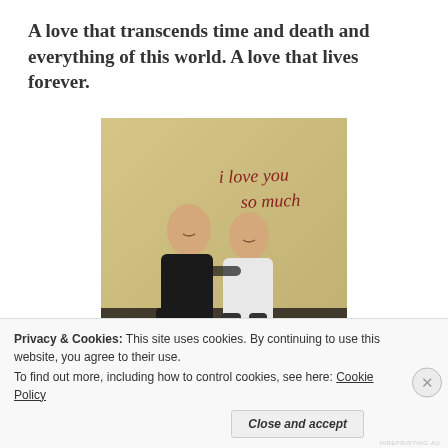A love that transcends time and death and everything of this world. A love that lives forever.
[Figure (photo): Two young people (a man in a black shirt and a woman in a white top) posing together smiling, with 'i love you so much' written in red cursive letters on a beige/yellow wall behind them.]
Privacy & Cookies: This site uses cookies. By continuing to use this website, you agree to their use.
To find out more, including how to control cookies, see here: Cookie Policy
Close and accept